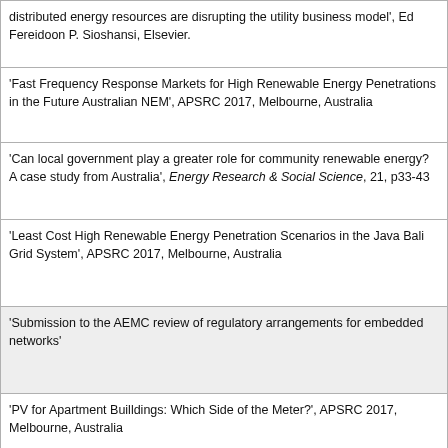distributed energy resources are disrupting the utility business model', Ed Fereidoon P. Sioshansi, Elsevier.
'Fast Frequency Response Markets for High Renewable Energy Penetrations in the Future Australian NEM', APSRC 2017, Melbourne, Australia
'Can local government play a greater role for community renewable energy? A case study from Australia', Energy Research & Social Science, 21, p33-43
'Least Cost High Renewable Energy Penetration Scenarios in the Java Bali Grid System', APSRC 2017, Melbourne, Australia
'Submission to the AEMC review of regulatory arrangements for embedded networks'
'PV for Apartment Builldings: Which Side of the Meter?', APSRC 2017, Melbourne, Australia
'Electrified Transport Opportunities for Low Carbon Mobility in Australian Cities', APSRC 2018, Sydney, Australia
'Impacts of PV System Configuration, Retail Tariffs and Annual Household Consumption on Payback Times for Residential Battery Energy Storage', APSRC 2018, Sydney, Australia